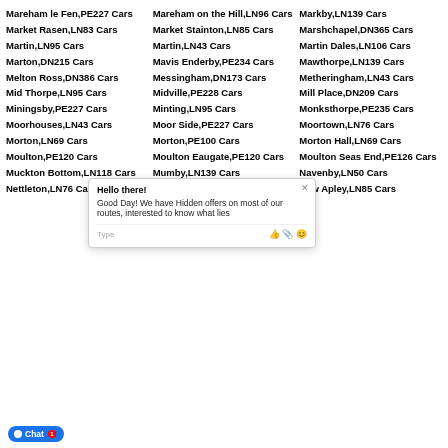Mareham le Fen,PE227 Cars
Mareham on the Hill,LN96 Cars
Markby,LN139 Cars
Market Rasen,LN83 Cars
Market Stainton,LN85 Cars
Marshchapel,DN365 Cars
Martin,LN95 Cars
Martin,LN43 Cars
Martin Dales,LN106 Cars
Marton,DN215 Cars
Mavis Enderby,PE234 Cars
Mawthorpe,LN139 Cars
Melton Ross,DN386 Cars
Messingham,DN173 Cars
Metheringham,LN43 Cars
Mid Thorpe,LN95 Cars
Midville,PE228 Cars
Mill Place,DN209 Cars
Miningsby,PE227 Cars
Minting,LN95 Cars
Monksthorpe,PE235 Cars
Moorhouses,LN43 Cars
Moor Side,PE227 Cars
Moortown,LN76 Cars
Morton,LN69 Cars
Morton,PE100 Cars
Morton Hall,LN69 Cars
Moulton,PE120 Cars
Moulton Eaugate,PE120 Cars
Moulton Seas End,PE126 Cars
Muckton Bottom,LN118 Cars
Mumby,LN139 Cars
Navenby,LN50 Cars
Nettleton,LN76 Cars
Nettleton Top,LN76 Cars
New Apley,LN85 Cars